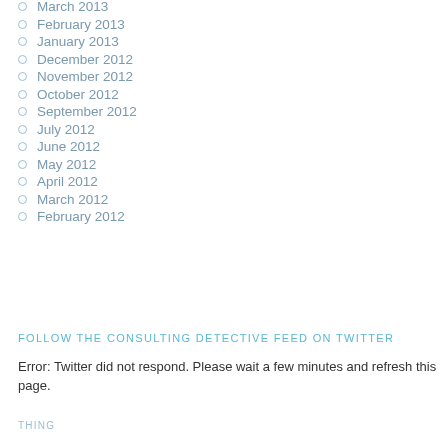March 2013
February 2013
January 2013
December 2012
November 2012
October 2012
September 2012
July 2012
June 2012
May 2012
April 2012
March 2012
February 2012
FOLLOW THE CONSULTING DETECTIVE FEED ON TWITTER
Error: Twitter did not respond. Please wait a few minutes and refresh this page.
THING